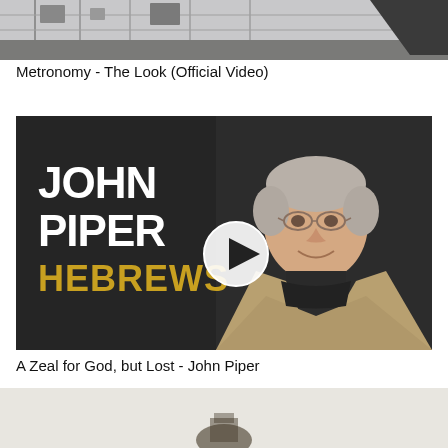[Figure (screenshot): Top thumbnail of a video - Metronomy The Look Official Video, showing partial view of what appears to be a studio or stage setting in grayscale]
Metronomy - The Look (Official Video)
[Figure (screenshot): Video thumbnail for John Piper Hebrews sermon. Shows an elderly man in a beige blazer smiling, against a dark textured background. Text overlay reads JOHN PIPER in white bold and HEBREWS in gold/yellow bold. A circular play button icon is visible in the center.]
A Zeal for God, but Lost - John Piper
[Figure (screenshot): Bottom thumbnail partially visible, appears to show a light-colored background with a small dark object or figure at the bottom center]